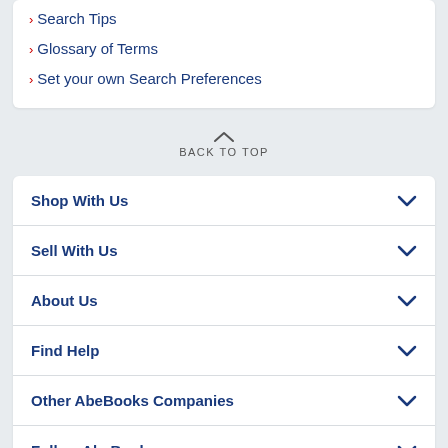› Search Tips
› Glossary of Terms
› Set your own Search Preferences
BACK TO TOP
Shop With Us
Sell With Us
About Us
Find Help
Other AbeBooks Companies
Follow AbeBooks
By using the Web site, you confirm that you have read, understood, and agreed